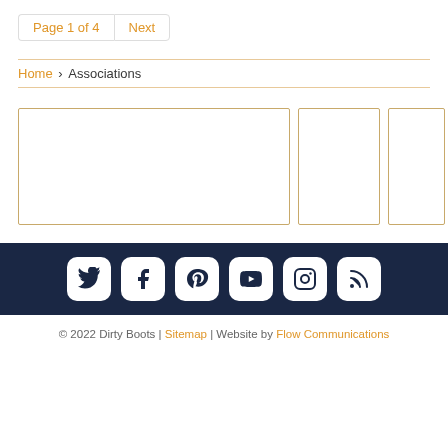Page 1 of 4  Next
Home > Associations
[Figure (other): Three bordered card placeholders in a row — one large, one medium, one partially visible small card]
[Figure (other): Social media icon bar with Twitter, Facebook, Pinterest, YouTube, Instagram, RSS icons on dark navy background]
© 2022 Dirty Boots | Sitemap | Website by Flow Communications